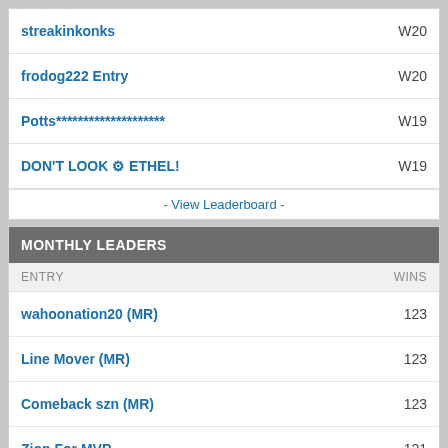| ENTRY | WINS |
| --- | --- |
| streakinkonks | W20 |
| frodog222 Entry | W20 |
| Potts******************** | W19 |
| DON'T LOOK 🔘 ETHEL! | W19 |
- View Leaderboard -
MONTHLY LEADERS
| ENTRY | WINS |
| --- | --- |
| wahoonation20 (MR) | 123 |
| Line Mover (MR) | 123 |
| Comeback szn (MR) | 123 |
| Zion For MVP | 121 |
| b_theGuru | 121 |
- View Leaderboard -